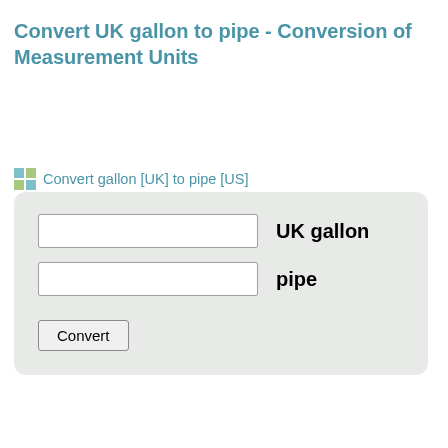Convert UK gallon to pipe - Conversion of Measurement Units
Convert gallon [UK] to pipe [US]
[Figure (screenshot): A unit conversion form with two input fields labeled 'UK gallon' and 'pipe', and a Convert button, displayed on a light gray rounded rectangle background.]